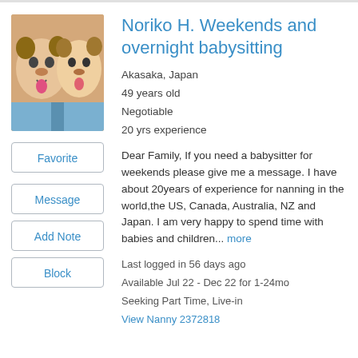[Figure (photo): Profile photo of Noriko H. showing two people making funny faces with dog face filters applied]
Noriko H. Weekends and overnight babysitting
Akasaka, Japan
49 years old
Negotiable
20 yrs experience
Dear Family, If you need a babysitter for weekends please give me a message. I have about 20years of experience for nanning in the world,the US, Canada, Australia, NZ and Japan. I am very happy to spend time with babies and children... more
Last logged in 56 days ago
Available Jul 22 - Dec 22 for 1-24mo
Seeking Part Time, Live-in
View Nanny 2372818